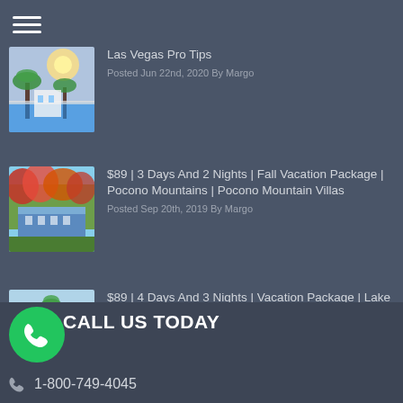Las Vegas Pro Tips
Posted Jun 22nd, 2020 By Margo
$89 | 3 Days And 2 Nights | Fall Vacation Package | Pocono Mountains | Pocono Mountain Villas
Posted Sep 20th, 2019 By Margo
$89 | 4 Days And 3 Nights | Vacation Package | Lake Havasu | London Bridge Resort
Posted Sep 13th, 2019 By Margo
CALL US TODAY
1-800-749-4045